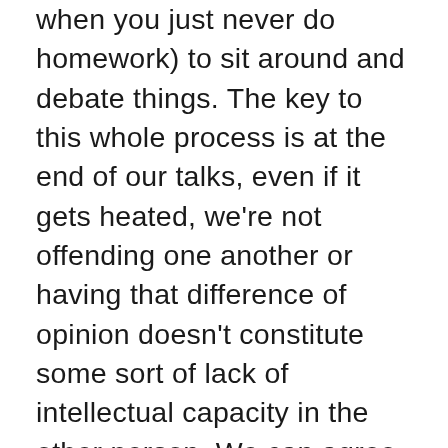when you just never do homework) to sit around and debate things. The key to this whole process is at the end of our talks, even if it gets heated, we're not offending one another or having that difference of opinion doesn't constitute some sort of lack of intellectual capacity in the other person. We can agree to disagree. My viewpoints are always conservative as hell, like I'm a very traditional guy, whereas the others are more modern with their positions. That's just me - doesn't make me any less credible as a person. We've asked each other some hard hitting and tough questions. Joel posed the question to me that if a legislative bill was proposed in Ohio (my home state, O-H-I-O; like Drew Carey only better) to legalize same-sex marriage how would I vote. I mean, that was hard as heck - because me as a person can say it doesn't affect me (people can go get married and do whatever with whomever they want to, my opinion on their love-lives is irrelevant) but religious I'd be apt to say no. I went with no, and did that change their opinion of me - maybe or maybe not. I mentioned that I'd want a son as a firstborn (if I could choose)